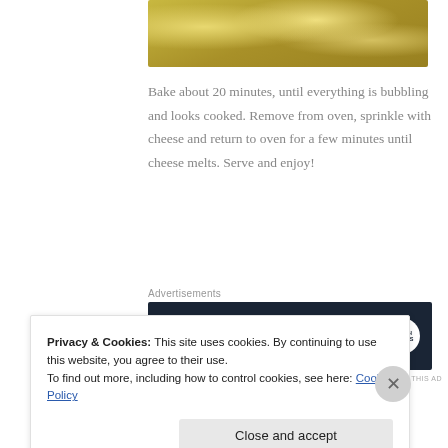[Figure (photo): Close-up photo of a baked casserole dish with melted yellow cheese on top, showing bubbly baked food]
Bake about 20 minutes, until everything is bubbling and looks cooked. Remove from oven, sprinkle with cheese and return to oven for a few minutes until cheese melts. Serve and enjoy!
Advertisements
[Figure (screenshot): WordPress advertisement banner with dark navy background reading 'Opinions. We all have them!' with WordPress logo and Fresh Voices circle logo]
REPORT THIS AD
Cheesy Chicken and Rice Casserole
Privacy & Cookies: This site uses cookies. By continuing to use this website, you agree to their use.
To find out more, including how to control cookies, see here: Cookie Policy
Close and accept